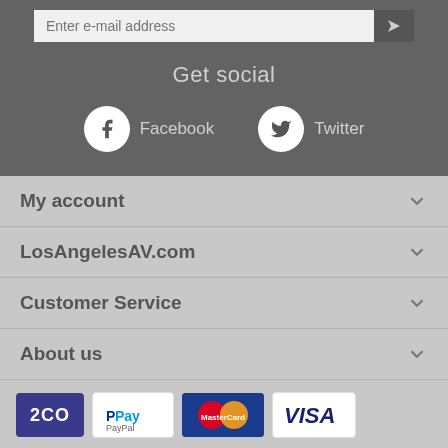Enter e-mail address
Get social
[Figure (infographic): Facebook icon circle with label 'Facebook' and Twitter bird icon circle with label 'Twitter']
My account
LosAngelesAV.com
Customer Service
About us
[Figure (logo): Payment logos: 2CO, PayPal, MasterCard, Visa]